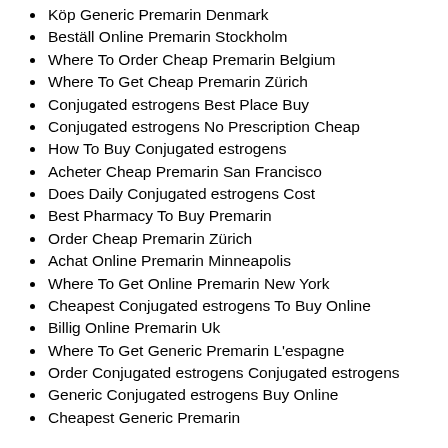Köp Generic Premarin Denmark
Beställ Online Premarin Stockholm
Where To Order Cheap Premarin Belgium
Where To Get Cheap Premarin Zürich
Conjugated estrogens Best Place Buy
Conjugated estrogens No Prescription Cheap
How To Buy Conjugated estrogens
Acheter Cheap Premarin San Francisco
Does Daily Conjugated estrogens Cost
Best Pharmacy To Buy Premarin
Order Cheap Premarin Zürich
Achat Online Premarin Minneapolis
Where To Get Online Premarin New York
Cheapest Conjugated estrogens To Buy Online
Billig Online Premarin Uk
Where To Get Generic Premarin L'espagne
Order Conjugated estrogens Conjugated estrogens
Generic Conjugated estrogens Buy Online
Cheapest Generic Premarin